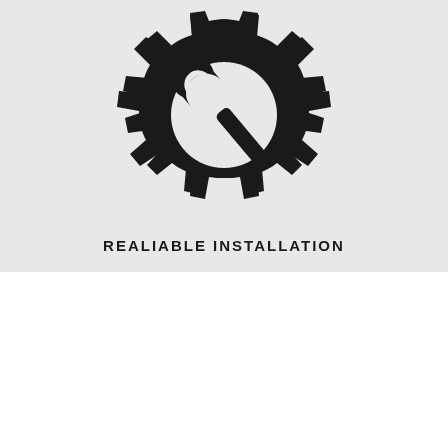[Figure (logo): A black gear/cog icon with a wrench overlaid on top, symbolizing installation or maintenance services.]
REALIABLE INSTALLATION